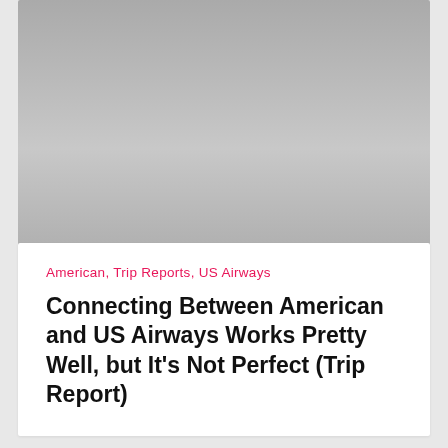[Figure (photo): Gray image placeholder at top of page]
American, Trip Reports, US Airways
Connecting Between American and US Airways Works Pretty Well, but It’s Not Perfect (Trip Report)
[Figure (photo): Gray image placeholder at bottom of page]